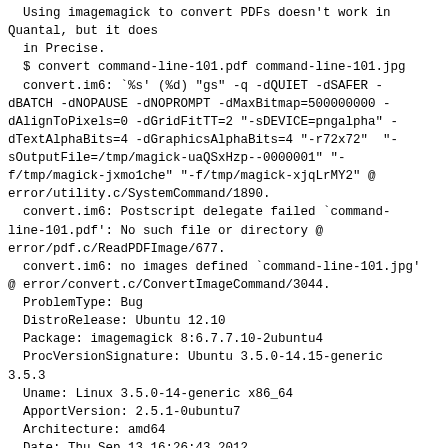Using imagemagick to convert PDFs doesn't work in Quantal, but it does
  in Precise.
$ convert command-line-101.pdf command-line-101.jpg
  convert.im6: `%s' (%d) "gs" -q -dQUIET -dSAFER -dBATCH -dNOPAUSE -dNOPROMPT -dMaxBitmap=500000000 -dAlignToPixels=0 -dGridFitTT=2 "-sDEVICE=pngalpha" -dTextAlphaBits=4 -dGraphicsAlphaBits=4 "-r72x72" "-sOutputFile=/tmp/magick-uaQSxHzp--0000001" "-f/tmp/magick-jxmo1che" "-f/tmp/magick-xjqLrMY2" @ error/utility.c/SystemCommand/1890.
  convert.im6: Postscript delegate failed `command-line-101.pdf': No such file or directory @ error/pdf.c/ReadPDFImage/677.
  convert.im6: no images defined `command-line-101.jpg' @ error/convert.c/ConvertImageCommand/3044.
ProblemType: Bug
  DistroRelease: Ubuntu 12.10
  Package: imagemagick 8:6.7.7.10-2ubuntu4
  ProcVersionSignature: Ubuntu 3.5.0-14.15-generic 3.5.3
  Uname: Linux 3.5.0-14-generic x86_64
  ApportVersion: 2.5.1-0ubuntu7
  Architecture: amd64
  Date: Thu Sep 13 16:26:43 2012
  SourcePackage: imagemagick
  UpgradeStatus: No upgrade log present (probably fresh install)